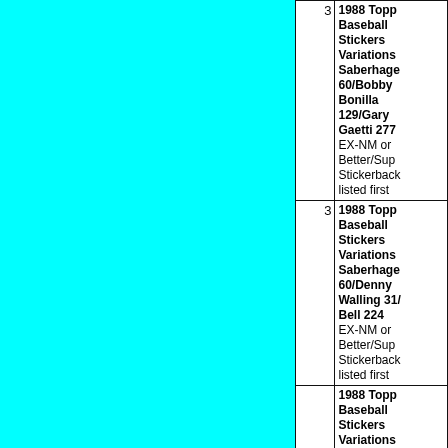|  | Qty | Description |
| --- | --- | --- |
|  | 3 | 1988 Topps Baseball Stickers Variations Saberhagen 60/Bobby Bonilla 129/Gary Gaetti 277 EX-NM or Better/Superb Stickerbacks listed first |
|  | 3 | 1988 Topps Baseball Stickers Variations Saberhagen 60/Denny Walling 31/Bell 224 EX-NM or Better/Superb Stickerbacks listed first |
|  |  | 1988 Topps Baseball Stickers Variations Saberhagen |